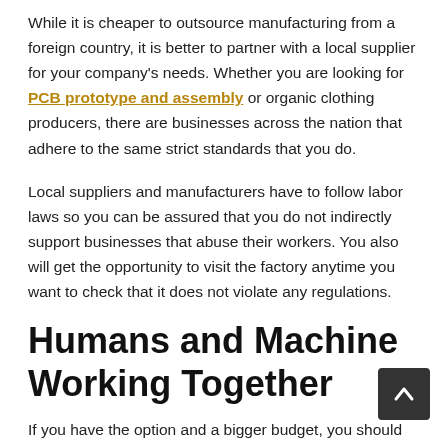While it is cheaper to outsource manufacturing from a foreign country, it is better to partner with a local supplier for your company's needs. Whether you are looking for PCB prototype and assembly or organic clothing producers, there are businesses across the nation that adhere to the same strict standards that you do.
Local suppliers and manufacturers have to follow labor laws so you can be assured that you do not indirectly support businesses that abuse their workers. You also will get the opportunity to visit the factory anytime you want to check that it does not violate any regulations.
Humans and Machine Working Together
If you have the option and a bigger budget, you should look into automation. Although some may have their doubts over